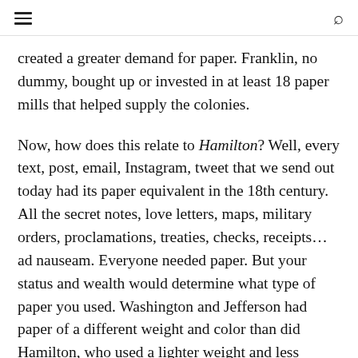[hamburger menu icon] [search icon]
created a greater demand for paper. Franklin, no dummy, bought up or invested in at least 18 paper mills that helped supply the colonies.
Now, how does this relate to Hamilton? Well, every text, post, email, Instagram, tweet that we send out today had its paper equivalent in the 18th century. All the secret notes, love letters, maps, military orders, proclamations, treaties, checks, receipts… ad nauseam. Everyone needed paper. But your status and wealth would determine what type of paper you used. Washington and Jefferson had paper of a different weight and color than did Hamilton, who used a lighter weight and less bleached paper when he was first starting out at his